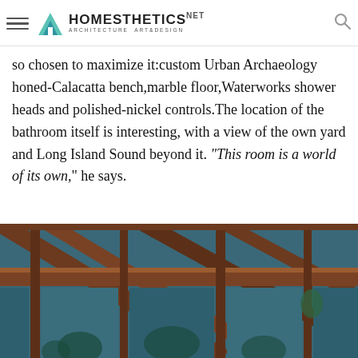Homesthetics — Architecture Art & Design
so chosen to maximize it:custom Urban Archaeology honed-Calacatta bench,marble floor,Waterworks shower heads and polished-nickel controls.The location of the bathroom itself is interesting, with a view of the own yard and Long Island Sound beyond it. “This room is a world of its own,” he says.
Photo: Durston Saylor/Courtesy Mark P. Finlay Architects
[Figure (photo): Interior architectural photo showing warm wooden ceiling beams and large windows with a blue-toned exterior view of trees and landscape.]